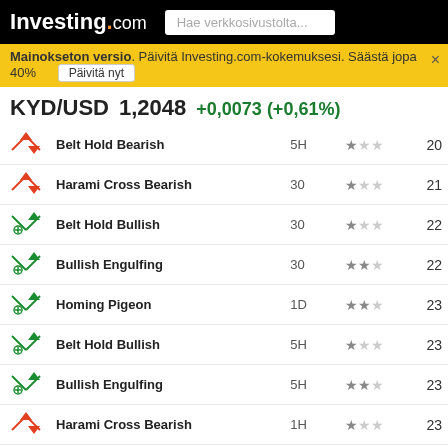Investing.com
Mainokseton versio. Päivitä Investing.com-kokemuksesi. Säästä jopa 40%   Päivitä nyt
KYD/USD   1,2048   +0,0073 (+0,61%)
| Icon | Pattern | Period | Reliability | Candle |
| --- | --- | --- | --- | --- |
| Bearish | Belt Hold Bearish | 5H | ★☆☆ | 20 |
| Bearish | Harami Cross Bearish | 30 | ★☆☆ | 21 |
| Bullish | Belt Hold Bullish | 30 | ★☆☆ | 22 |
| Bullish | Bullish Engulfing | 30 | ★★☆ | 22 |
| Bullish | Homing Pigeon | 1D | ★★☆ | 23 |
| Bullish | Belt Hold Bullish | 5H | ★☆☆ | 23 |
| Bullish | Bullish Engulfing | 5H | ★★☆ | 23 |
| Bearish | Harami Cross Bearish | 1H | ★☆☆ | 23 |
| Bearish | Harami Cross Bearish | 30 | ★☆☆ | 23 |
| Bullish | Belt Hold Bullish | 1D | ★☆☆ | 24 |
| Bearish | Harami Cross Bearish | 5H | ★☆☆ | 24 |
| Bullish | Belt Hold Bullish | 1H | ★☆☆ | 24 |
| Bullish | Bullish Engulfing | 1H | ★★☆ | 24 |
| Bullish | Belt Hold Bullish | 30 | ★☆☆ | 24 |